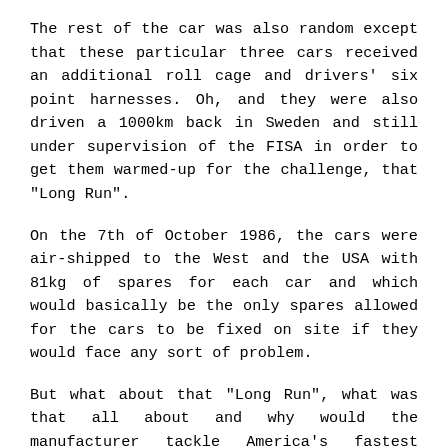The rest of the car was also random except that these particular three cars received an additional roll cage and drivers' six point harnesses. Oh, and they were also driven a 1000km back in Sweden and still under supervision of the FISA in order to get them warmed-up for the challenge, that "Long Run".
On the 7th of October 1986, the cars were air-shipped to the West and the USA with 81kg of spares for each car and which would basically be the only spares allowed for the cars to be fixed on site if they would face any sort of problem.
But what about that "Long Run", what was that all about and why would the manufacturer tackle America's fastest superspeedway with "stock" cars ?! Well, as said earlier, it was all about that